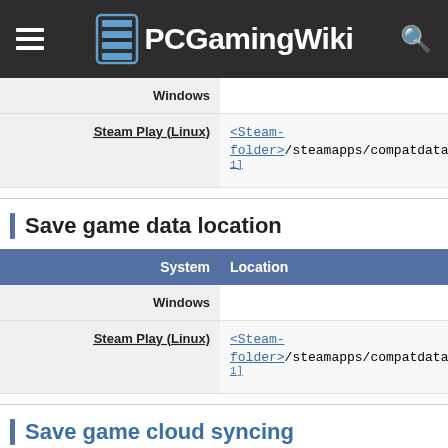PCGamingWiki
| System | Location |
| --- | --- |
| Windows |  |
| Steam Play (Linux) | <Steam-folder>/steamapps/compatdata/883100/pfx/[Note 1] |
Save game data location
| System | Location |
| --- | --- |
| Windows |  |
| Steam Play (Linux) | <Steam-folder>/steamapps/compatdata/883100/pfx/[Note 1] |
Save game cloud syncing
| System | Native | Notes |
| --- | --- | --- |
| Steam Cloud | ?! |  |